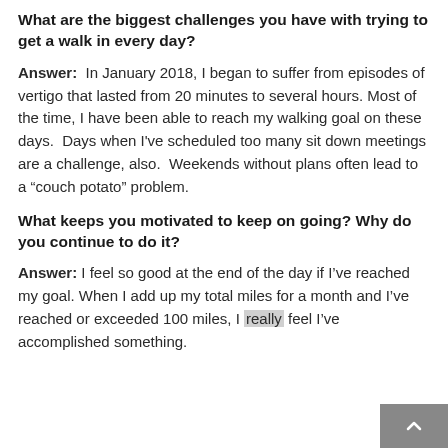What are the biggest challenges you have with trying to get a walk in every day?
Answer: In January 2018, I began to suffer from episodes of vertigo that lasted from 20 minutes to several hours. Most of the time, I have been able to reach my walking goal on these days. Days when I've scheduled too many sit down meetings are a challenge, also. Weekends without plans often lead to a “couch potato” problem.
What keeps you motivated to keep on going? Why do you continue to do it?
Answer: I feel so good at the end of the day if I’ve reached my goal. When I add up my total miles for a month and I’ve reached or exceeded 100 miles, I really feel I’ve accomplished something.